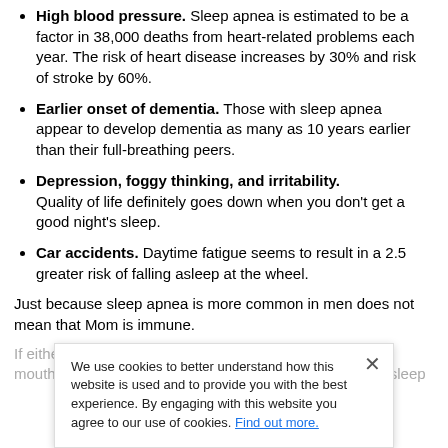High blood pressure. Sleep apnea is estimated to be a factor in 38,000 deaths from heart-related problems each year. The risk of heart disease increases by 30% and risk of stroke by 60%.
Earlier onset of dementia. Those with sleep apnea appear to develop dementia as many as 10 years earlier than their full-breathing peers.
Depression, foggy thinking, and irritability. Quality of life definitely goes down when you don't get a good night's sleep.
Car accidents. Daytime fatigue seems to result in a 2.5 greater risk of falling asleep at the wheel.
Just because sleep apnea is more common in men does not mean that Mom is immune.
If either parent snores, wakes up with headaches, a dry mouth, co... with fuzzy thinking or irritability... doctor about a sleep
We use cookies to better understand how this website is used and to provide you with the best experience. By engaging with this website you agree to our use of cookies. Find out more.